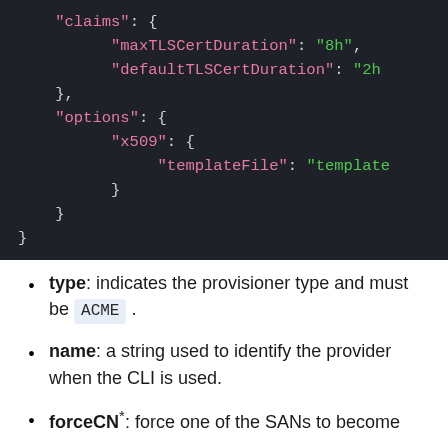[Figure (screenshot): Dark-themed code block showing JSON configuration with fields: claims containing maxTLSCertDuration '8h' and defaultTLSCertDuration '2h', followed by options containing x509 with templateFile 'template...']
type: indicates the provisioner type and must be ACME.
name: a string used to identify the provider when the CLI is used.
forceCN*: force one of the SANs to become...